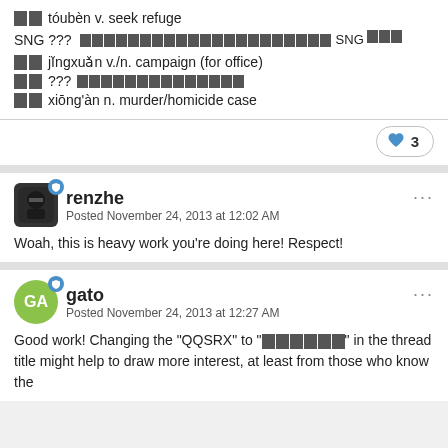■■ tóubèn v. seek refuge
SNG ??? ■■■■■■■■■■■■■■■■■■■■■SNG■■■
■■ jingxuǎn v./n. campaign (for office)
■■ ??? ■■■■■■■■■■■■■■
■■ xiōng'àn n. murder/homicide case
♥ 3
renzhe
Posted November 24, 2013 at 12:02 AM
Woah, this is heavy work you're doing here! Respect!
gato
Posted November 24, 2013 at 12:27 AM
Good work! Changing the "QQSRX" to "■■■■■■" in the thread title might help to draw more interest, at least from those who know the